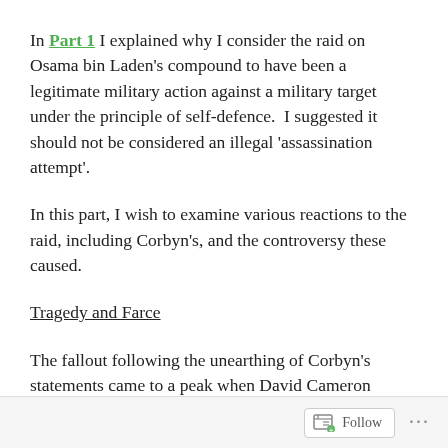In Part 1 I explained why I consider the raid on Osama bin Laden's compound to have been a legitimate military action against a military target under the principle of self-defence.  I suggested it should not be considered an illegal 'assassination attempt'.
In this part, I wish to examine various reactions to the raid, including Corbyn's, and the controversy these caused.
Tragedy and Farce
The fallout following the unearthing of Corbyn's statements came to a peak when David Cameron alluded to it in his conference speech in October. It
Follow